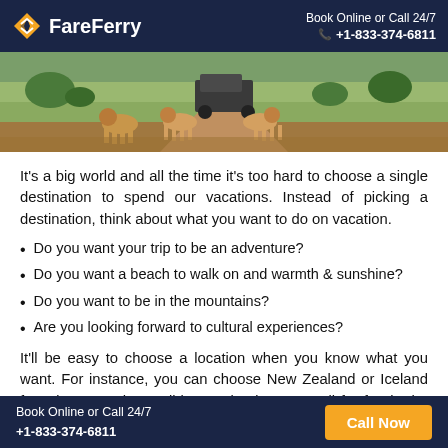FareFerry | Book Online or Call 24/7 | +1-833-374-6811
[Figure (photo): Safari photo showing lions walking on a dirt path toward a vehicle in a green savanna landscape]
It’s a big world and all the time it’s too hard to choose a single destination to spend our vacations. Instead of picking a destination, think about what you want to do on vacation.
Do you want your trip to be an adventure?
Do you want a beach to walk on and warmth & sunshine?
Do you want to be in the mountains?
Are you looking forward to cultural experiences?
It’ll be easy to choose a location when you know what you want. For instance, you can choose New Zealand or Iceland for adventure, the Caribbean Islands or Hawaii for fun in the sun, or visit Mexico or Italy for cultural experiences.
Book Online or Call 24/7 | +1-833-374-6811 | Call Now